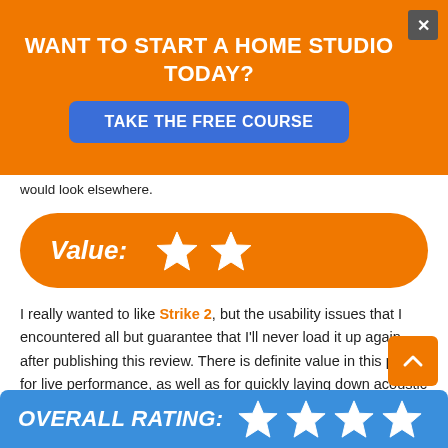[Figure (infographic): Orange banner ad asking 'WANT TO START A HOME STUDIO TODAY?' with a blue 'TAKE THE FREE COURSE' button and a close X button]
would look elsewhere.
[Figure (infographic): Orange rounded rectangle with 'Value:' label and 2 white star icons]
I really wanted to like Strike 2, but the usability issues that I encountered all but guarantee that I'll never load it up again after publishing this review. There is definite value in this plugin for live performance, as well as for quickly laying down acoustic and electronic drum backing tracks using the included patterns, but if I could only buy one drum plugin this wouldn't be it. In conclusion, I give Strike 2 a total of 3.5 out of 5 stars.
[Figure (infographic): Blue rounded bar at bottom showing 'OVERALL RATING:' with 3 white star icons (partially visible 4th)]